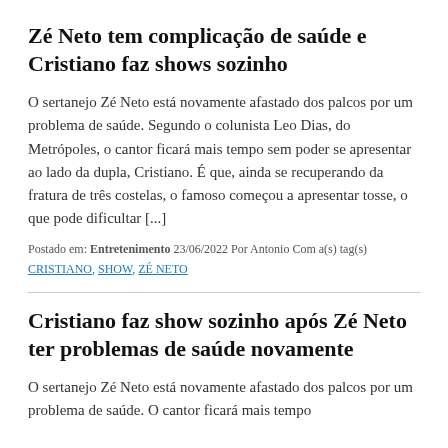Zé Neto tem complicação de saúde e Cristiano faz shows sozinho
O sertanejo Zé Neto está novamente afastado dos palcos por um problema de saúde. Segundo o colunista Leo Dias, do Metrópoles, o cantor ficará mais tempo sem poder se apresentar ao lado da dupla, Cristiano. É que, ainda se recuperando da fratura de três costelas, o famoso começou a apresentar tosse, o que pode dificultar [...]
Postado em: Entretenimento 23/06/2022 Por Antonio Com a(s) tag(s) CRISTIANO, SHOW, ZÉ NETO
Cristiano faz show sozinho após Zé Neto ter problemas de saúde novamente
O sertanejo Zé Neto está novamente afastado dos palcos por um problema de saúde. O cantor ficará mais tempo